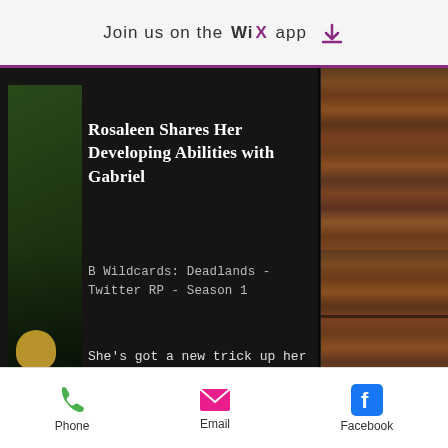Join us on the WiX app
Rosaleen Shares Her Developing Abilities with Gabriel
B Wildcards: Deadlands - Twitter RP - Season 1
She's got a new trick up her sleeve.
[Figure (screenshot): A dark-themed mobile app content card with a gold 'More' button]
Phone  Email  Facebook